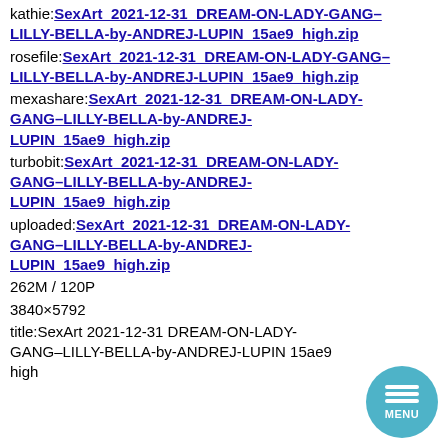kathie:SexArt_2021-12-31_DREAM-ON-LADY-GANG–LILLY-BELLA-by-ANDREJ-LUPIN_15ae9_high.zip
rosefile:SexArt_2021-12-31_DREAM-ON-LADY-GANG–LILLY-BELLA-by-ANDREJ-LUPIN_15ae9_high.zip
mexashare:SexArt_2021-12-31_DREAM-ON-LADY-GANG–LILLY-BELLA-by-ANDREJ-LUPIN_15ae9_high.zip
turbobit:SexArt_2021-12-31_DREAM-ON-LADY-GANG–LILLY-BELLA-by-ANDREJ-LUPIN_15ae9_high.zip
uploaded:SexArt_2021-12-31_DREAM-ON-LADY-GANG–LILLY-BELLA-by-ANDREJ-LUPIN_15ae9_high.zip
262M / 120P
3840×5792
title:SexArt 2021-12-31 DREAM-ON-LADY-GANG–LILLY-BELLA-by-ANDREJ-LUPIN 15ae9 high